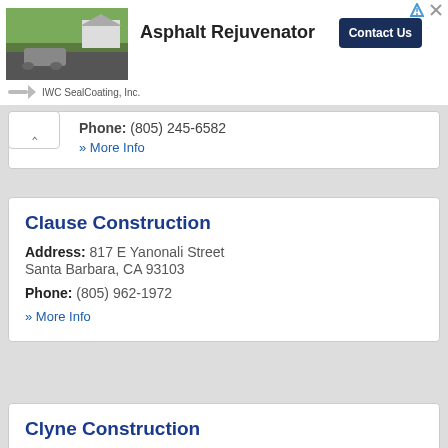[Figure (photo): Advertisement banner for IWC SealCoating, Inc. showing an asphalt rejuvenator machine on a driveway with trees in background. Includes 'Asphalt Rejuvenator' text and 'Contact Us' button.]
Phone: (805) 245-6582
» More Info
Clause Construction
Address: 817 E Yanonali Street
Santa Barbara, CA 93103
Phone: (805) 962-1972
» More Info
Clyne Construction
Address: 425 E Valerio Street